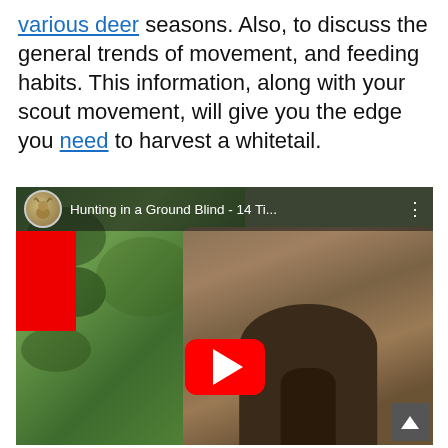various deer seasons. Also, to discuss the general trends of movement, and feeding habits. This information, along with your scout movement, will give you the edge you need to harvest a whitetail.
[Figure (screenshot): YouTube video thumbnail showing 'Hunting in a Ground Blind - 14 Ti...' with a camouflage ground blind in a green field, a red YouTube play button in the center, a deer avatar icon and video title in the top bar, and a red partial overlay on the left edge.]